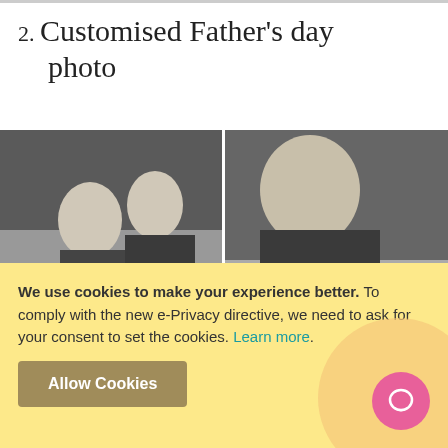2. Customised Father's day photo
[Figure (photo): Two black and white photos side by side showing children holding up their feet with letters and a red heart symbol drawn on them. Left photo shows two young boys, right photo is a close-up of children's feet with letters W and a red heart visible.]
We use cookies to make your experience better. To comply with the new e-Privacy directive, we need to ask for your consent to set the cookies. Learn more.
Allow Cookies